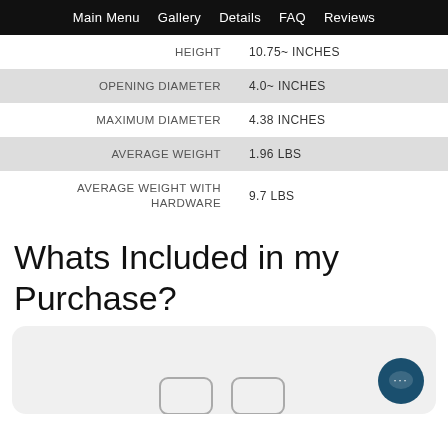Main Menu  Gallery  Details  FAQ  Reviews
| HEIGHT | 10.75~ INCHES |
| OPENING DIAMETER | 4.0~ INCHES |
| MAXIMUM DIAMETER | 4.38 INCHES |
| AVERAGE WEIGHT | 1.96 LBS |
| AVERAGE WEIGHT WITH HARDWARE | 9.7 LBS |
Whats Included in my Purchase?
[Figure (screenshot): Gray rounded box showing product icons at bottom, with a dark teal chat button in the lower right corner with ellipsis (...)]